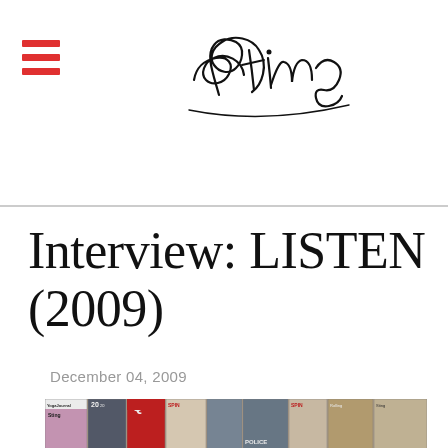Sting (logo/signature)
Interview: LISTEN (2009)
December 04, 2009
[Figure (photo): Collage of magazine covers featuring Sting, including Yoga Journal, 20/20, Q, SPIN, Rolling Stone, POLICE and other publications across multiple rows.]